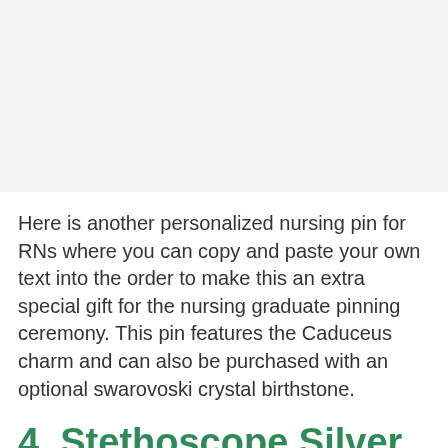[Figure (photo): White/light grey blank image placeholder area at the top of the page]
Here is another personalized nursing pin for RNs where you can copy and paste your own text into the order to make this an extra special gift for the nursing graduate pinning ceremony. This pin features the Caduceus charm and can also be purchased with an optional swarovoski crystal birthstone.
4. Stethoscope Silver